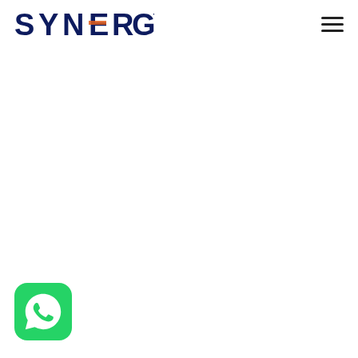SYNERGY (logo with hamburger menu)
[Figure (logo): WhatsApp icon — green rounded square with white phone/speech-bubble logo, bottom-left corner]